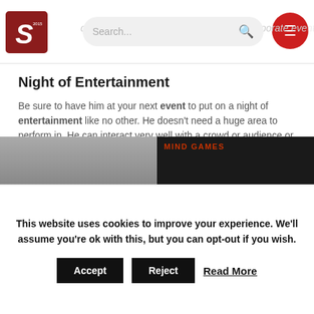digital magic for galas, charity events, corporate events
Night of Entertainment
Be sure to have him at your next event to put on a night of entertainment like no other. He doesn't need a huge area to perform in. He can interact very well with a crowd or audience or if you prefer, he can perform whilst on a stage. This magician freestyles his tricks, but upon request he will adapt his magic skills to suit his audience.
[Figure (photo): Photo of a magician performing]
[Figure (photo): Mind Games promotional image with text MIND GAMES]
This website uses cookies to improve your experience. We'll assume you're ok with this, but you can opt-out if you wish. Accept Reject Read More